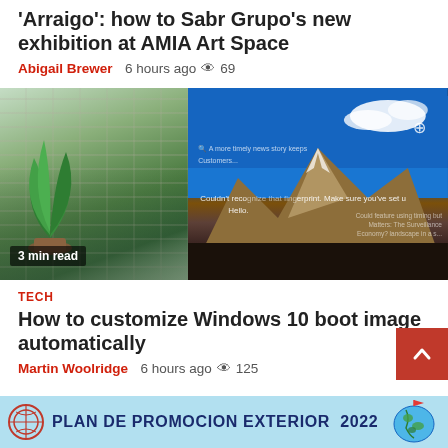Arraigo': how to Sabr Grupo's new exhibition at AMIA Art Space
Abigail Brewer  6 hours ago  69
[Figure (photo): Split image: left side shows a potted plant against a brick wall background; right side shows a laptop screen displaying Windows 10 Hello fingerprint screen with a mountain landscape wallpaper. Badge reads '3 min read'.]
TECH
How to customize Windows 10 boot image automatically
Martin Woolridge  6 hours ago  125
[Figure (infographic): Banner advertisement: light blue background with logo, text reading 'PLAN DE PROMOCION EXTERIOR 2022' and a globe illustration on the right.]